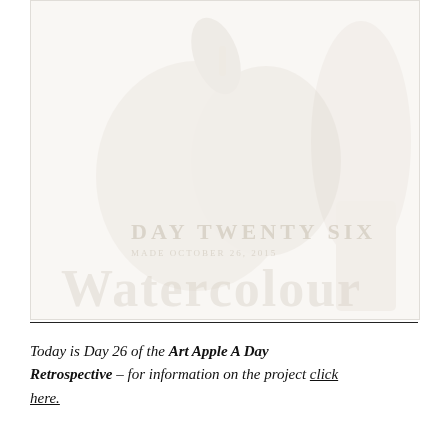[Figure (illustration): A faded/watermarked illustration of an apple with text overlays reading 'Day Twenty Six' and a date, and large stylized text 'Watercolour' or similar at the bottom. The image is very light/washed out in beige and white tones.]
Today is Day 26 of the Art Apple A Day Retrospective – for information on the project click here.